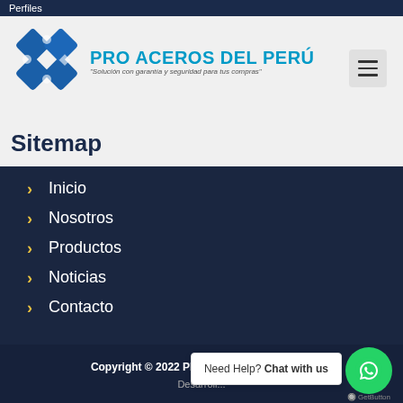Perfiles
[Figure (logo): Pro Aceros del Perú logo with diamond/rhombus shapes and tagline 'Solución con garantía y seguridad para tus compras']
Sitemap
Inicio
Nosotros
Productos
Noticias
Contacto
Copyright © 2022 PRO ACEROS DEL PERÚ
Desarroll...
Need Help? Chat with us